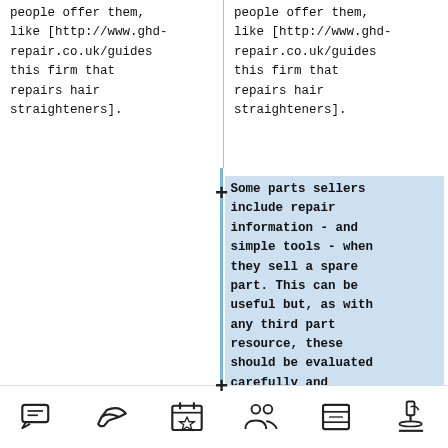people offer them, like [http://www.ghd-repair.co.uk/guides this firm that repairs hair straighteners].
people offer them, like [http://www.ghd-repair.co.uk/guides this firm that repairs hair straighteners].
Some parts sellers include repair information - and simple tools - when they sell a spare part. This can be useful but, as with any third part resource, these should be evaluated carefully and